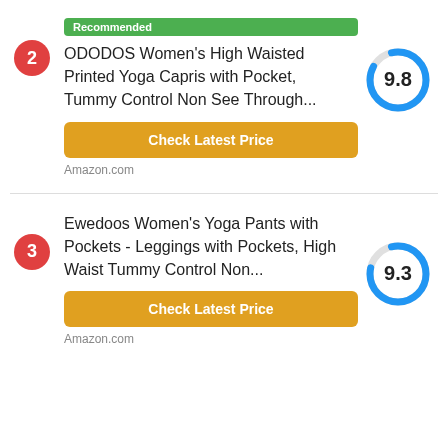2
Recommended
ODODOS Women's High Waisted Printed Yoga Capris with Pocket, Tummy Control Non See Through...
[Figure (donut-chart): Score 9.8]
Check Latest Price
Amazon.com
3
Ewedoos Women's Yoga Pants with Pockets - Leggings with Pockets, High Waist Tummy Control Non...
[Figure (donut-chart): Score 9.3]
Check Latest Price
Amazon.com